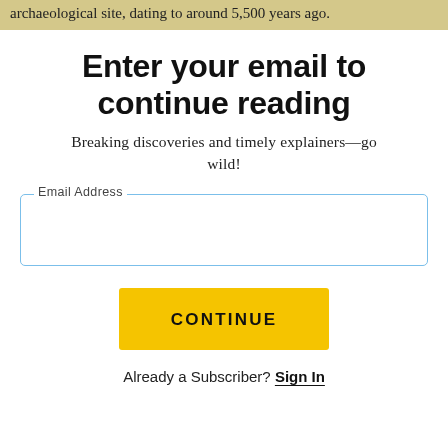archaeological site, dating to around 5,500 years ago.
Enter your email to continue reading
Breaking discoveries and timely explainers—go wild!
Email Address
CONTINUE
Already a Subscriber? Sign In